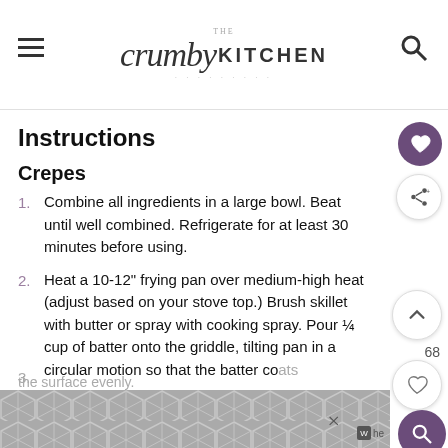THE crumby KITCHEN
Instructions
Crepes
1. Combine all ingredients in a large bowl. Beat until well combined. Refrigerate for at least 30 minutes before using.
2. Heat a 10-12" frying pan over medium-high heat (adjust based on your stove top.) Brush skillet with butter or spray with cooking spray. Pour ¼ cup of batter onto the griddle, tilting pan in a circular motion so that the batter coats the surface evenly.
3.